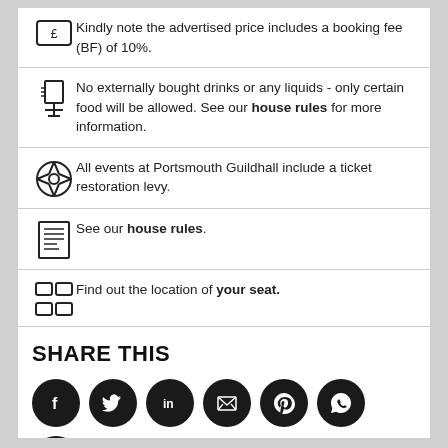Kindly note the advertised price includes a booking fee (BF) of 10%.
No externally bought drinks or any liquids - only certain food will be allowed. See our house rules for more information.
All events at Portsmouth Guildhall include a ticket restoration levy.
See our house rules.
Find out the location of your seat.
SHARE THIS
[Figure (infographic): Social media share icons: Facebook, Twitter, LinkedIn, Email, Pinterest, WhatsApp, Telegram — black circles with white icons]